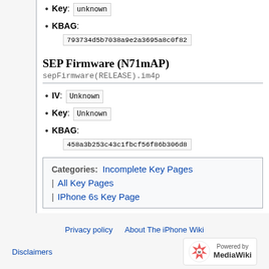Key: unknown
KBAG: 793734d5b7038a9e2a3695a8c0f82...
SEP Firmware (N71mAP)
sepFirmware(RELEASE).im4p
IV: Unknown
Key: Unknown
KBAG: 458a3b253c43c1fbcf56f86b306d8...
Categories: Incomplete Key Pages | All Key Pages | IPhone 6s Key Page
Privacy policy  About The iPhone Wiki  Disclaimers  Powered by MediaWiki